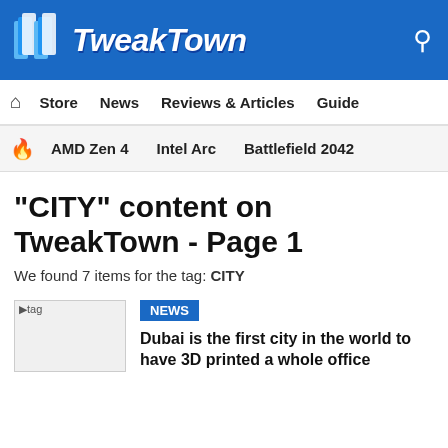TweakTown
Store  News  Reviews & Articles  Guide
AMD Zen 4  Intel Arc  Battlefield 2042
"CITY" content on TweakTown - Page 1
We found 7 items for the tag: CITY
[Figure (screenshot): tag thumbnail image placeholder]
NEWS
Dubai is the first city in the world to have 3D printed a whole office